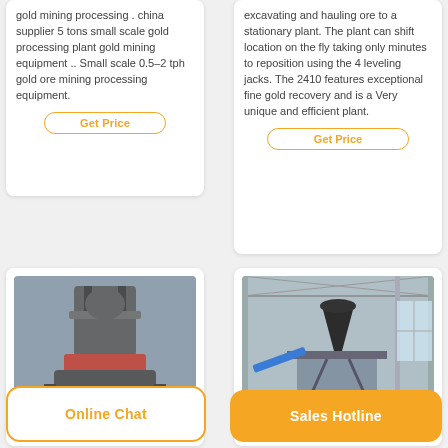gold mining processing . china supplier 5 tons small scale gold processing plant gold mining equipment .. Small scale 0.5–2 tph gold ore mining processing equipment.
Get Price
excavating and hauling ore to a stationary plant. The plant can shift location on the fly taking only minutes to reposition using the 4 leveling jacks. The 2410 features exceptional fine gold recovery and is a Very unique and efficient plant.
Get Price
[Figure (photo): Industrial gold mining processing machine, large grey cylindrical equipment with red base, in a factory setting]
[Figure (photo): Gold processing plant equipment in a large industrial warehouse, cone-shaped crusher on elevated platform with conveyor]
Online Chat
Sales Hotline